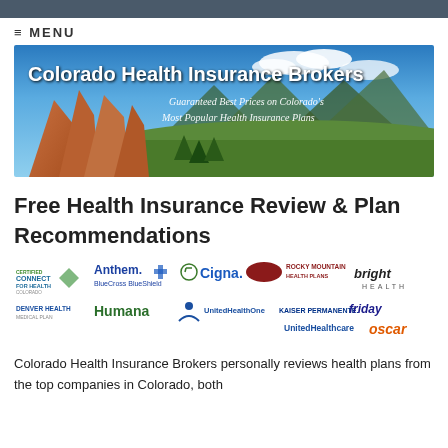≡ MENU
[Figure (illustration): Colorado Health Insurance Brokers banner image showing Colorado mountain landscape (Garden of the Gods red rock formations and green mountain range) with text overlay: 'Colorado Health Insurance Brokers - Guaranteed Best Prices on Colorado's Most Popular Health Insurance Plans']
Free Health Insurance Review & Plan Recommendations
[Figure (logo): Row of insurance company logos including: Connect For Health Colorado, Anthem BlueCross BlueShield, Cigna, Rocky Mountain Health Plans, bright health, Denver Health Medical Plan, Humana, UnitedHealthOne, Kaiser Permanente, friday (Health Plans of America), UnitedHealthcare, oscar]
Colorado Health Insurance Brokers personally reviews health plans from the top companies in Colorado, both